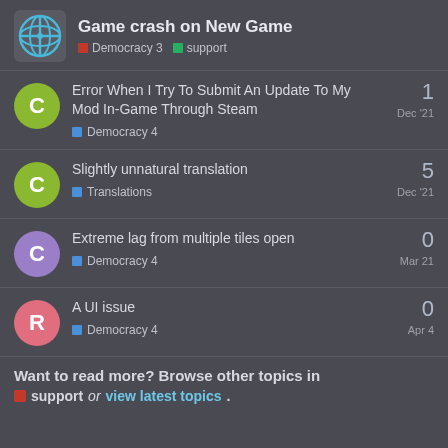Game crash on New Game — Democracy 3 | support
Error When I Try To Submit An Update To My Mod In-Game Through Steam | Democracy 4 | Dec '21 | 1 reply
Slightly unnatural translation | Translations | Dec '21 | 5 replies
Extreme lag from multiple tiles open | Democracy 4 | Mar 21 | 0 replies
A UI issue | Democracy 4 | Apr 4 | 0 replies
Want to read more? Browse other topics in support or view latest topics.